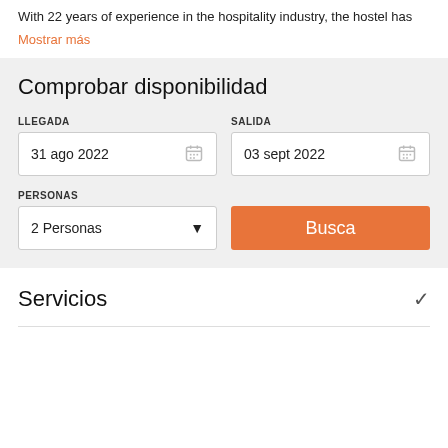With 22 years of experience in the hospitality industry, the hostel has
Mostrar más
Comprobar disponibilidad
LLEGADA
31 ago 2022
SALIDA
03 sept 2022
PERSONAS
2 Personas
Busca
Servicios